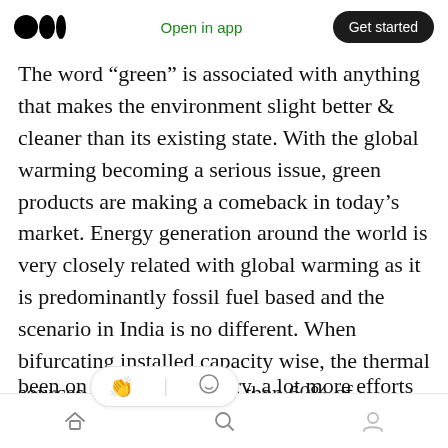Open in app | Get started
The word "green" is associated with anything that makes the environment slight better & cleaner than its existing state. With the global warming becoming a serious issue, green products are making a comeback in today's market. Energy generation around the world is very closely related with global warming as it is predominantly fossil fuel based and the scenario in India is no different. When bifurcating installed capacity wise, the thermal sources account for more than 60% of country's capacity (Figure 1). While r[enewable ene]rgy sources have been on the rise in country, a lot more efforts are
Home | Search | Profile